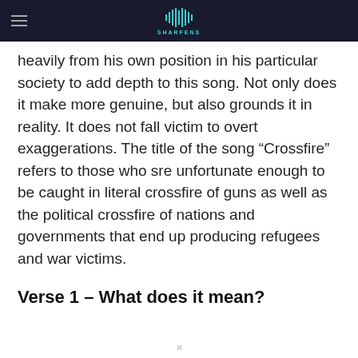SHARFENS
heavily from his own position in his particular society to add depth to this song. Not only does it make more genuine, but also grounds it in reality. It does not fall victim to overt exaggerations. The title of the song “Crossfire” refers to those who sre unfortunate enough to be caught in literal crossfire of guns as well as the political crossfire of nations and governments that end up producing refugees and war victims.
Verse 1 – What does it mean?